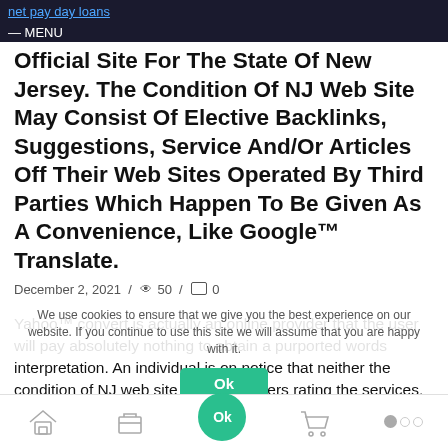net pay day loans
MENU
Official Site For The State Of New Jersey. The Condition Of NJ Web Site May Consist Of Elective Backlinks, Suggestions, Service And/Or Articles Off Their Web Sites Operated By Third Parties Which Happen To Be Given As A Convenience, Like Google™ Translate.
December 2, 2021 / 👁 50 / 💬 0
Yahoo™ convert is actually an online provider that the user will pay absolutely nothing to obtain a purported words interpretation. An individual is on notice that neither the condition of NJ web site nor the workers rating the services, information and/or contents from whatever are linked to the State of NJ webpages for any reason. -Read Comprehensive Disclaimer
We use cookies to ensure that we give you the best experience on our website. If you continue to use this site we will assume that you are happy with it.
Ok